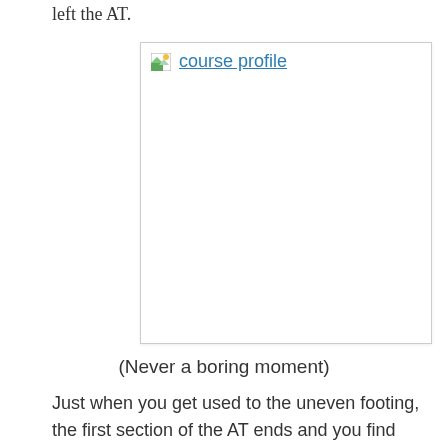left the AT.
[Figure (other): Broken image placeholder with link text 'course profile']
(Never a boring moment)
Just when you get used to the uneven footing, the first section of the AT ends and you find yourself back on